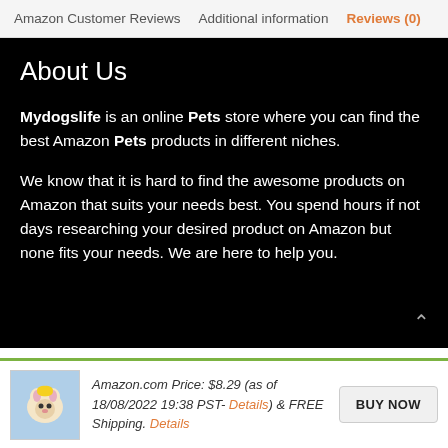Amazon Customer Reviews   Additional information   Reviews (0)
About Us
Mydogslife is an online Pets store where you can find the best Amazon Pets products in different niches.
We know that it is hard to find the awesome products on Amazon that suits your needs best. You spend hours if not days researching your desired product on Amazon but none fits your needs. We are here to help you.
Pages
Amazon.com Price: $8.29 (as of 18/08/2022 19:38 PST- Details) & FREE Shipping. Details